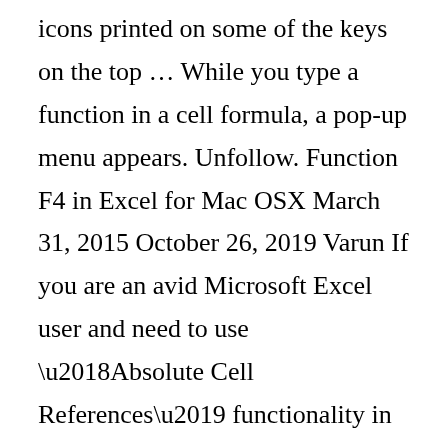icons printed on some of the keys on the top … While you type a function in a cell formula, a pop-up menu appears. Unfollow. Function F4 in Excel for Mac OSX March 31, 2015 October 26, 2019 Varun If you are an avid Microsoft Excel user and need to use ‘Absolute Cell References’ functionality in MS Excel on a Mac computer, then you will find that Fn+F4 key combination doesn’t work on OSX like it worked on Windows. Then I found my Microsoft Access not